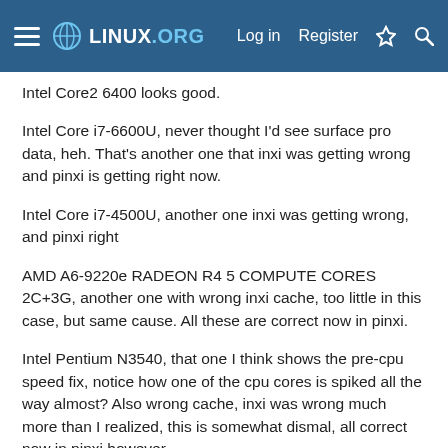LINUX.ORG — Log in  Register
Intel Core2 6400 looks good.
Intel Core i7-6600U, never thought I'd see surface pro data, heh. That's another one that inxi was getting wrong and pinxi is getting right now.
Intel Core i7-4500U, another one inxi was getting wrong, and pinxi right
AMD A6-9220e RADEON R4 5 COMPUTE CORES 2C+3G, another one with wrong inxi cache, too little in this case, but same cause. All these are correct now in pinxi.
Intel Pentium N3540, that one I think shows the pre-cpu speed fix, notice how one of the cpu cores is spiked all the way almost? Also wrong cache, inxi was wrong much more than I realized, this is somewhat dismal, all correct now in pinxi however.